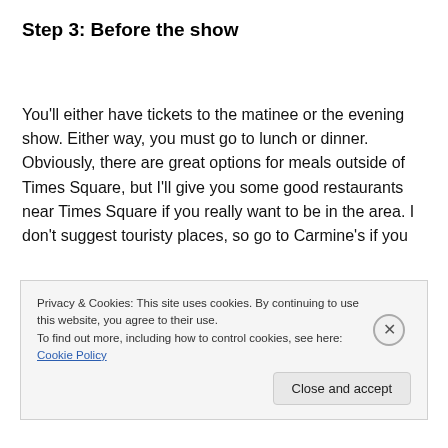Step 3: Before the show
You'll either have tickets to the matinee or the evening show. Either way, you must go to lunch or dinner. Obviously, there are great options for meals outside of Times Square, but I'll give you some good restaurants near Times Square if you really want to be in the area. I don't suggest touristy places, so go to Carmine's if you
Privacy & Cookies: This site uses cookies. By continuing to use this website, you agree to their use.
To find out more, including how to control cookies, see here: Cookie Policy